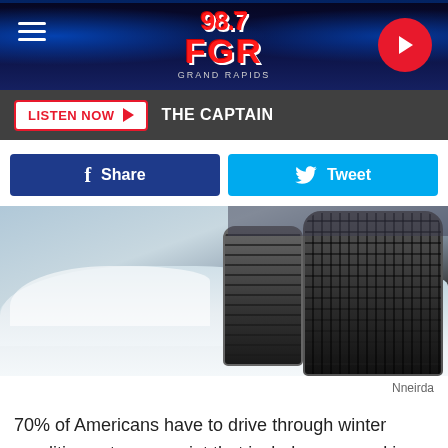[Figure (screenshot): 98.7 FGR Grand Rapids radio station header banner with blue stage lighting, logo centered, hamburger menu icon on left, red play button on right]
[Figure (screenshot): Listen Now button bar with dark background, red-bordered white button reading LISTEN NOW with play arrow, and text THE CAPTAIN]
[Figure (screenshot): Facebook Share button (dark blue) and Twitter Tweet button (light blue) social sharing row]
[Figure (photo): Close-up photo of a car tire driving through snow and ice on a winter road]
Nneirda
70% of Americans have to drive through winter conditions at some point that include snow and ice.
[Figure (photo): Bottom portion of second photo showing dark nighttime scene with blue light]